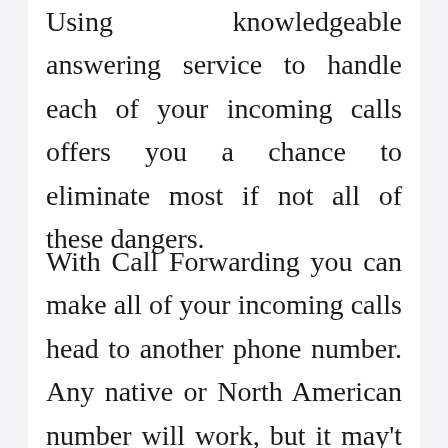Using knowledgeable answering service to handle each of your incoming calls offers you a chance to eliminate most if not all of these dangers.
With Call Forwarding you can make all of your incoming calls head to another phone number. Any native or North American number will work, but it may't be an International number. You may nonetheless be capable of make out-going calls from your phone, but all your incoming calls will come and...